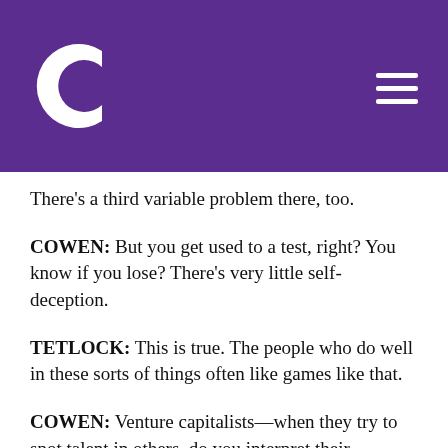[Figure (logo): White stylized C logo and hamburger menu on purple background]
There's a third variable problem there, too.
COWEN: But you get used to a test, right? You know if you lose? There's very little self-deception.
TETLOCK: This is true. The people who do well in these sorts of things often like games like that.
COWEN: Venture capitalists—when they try to spot talent in others, do you interpret their behavior in terms of a superforecaster model? Someone like Peter Thiel—he found Mark Zuckerberg, Reed Hoffman